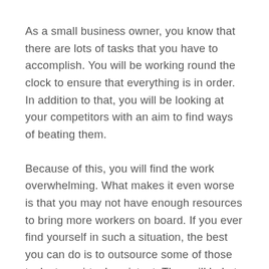As a small business owner, you know that there are lots of tasks that you have to accomplish. You will be working round the clock to ensure that everything is in order. In addition to that, you will be looking at your competitors with an aim to find ways of beating them.
Because of this, you will find the work overwhelming. What makes it even worse is that you may not have enough resources to bring more workers on board. If you ever find yourself in such a situation, the best you can do is to outsource some of those tasks to a virtual assistant. They will help to lessen your workload, and give you some time to rest.